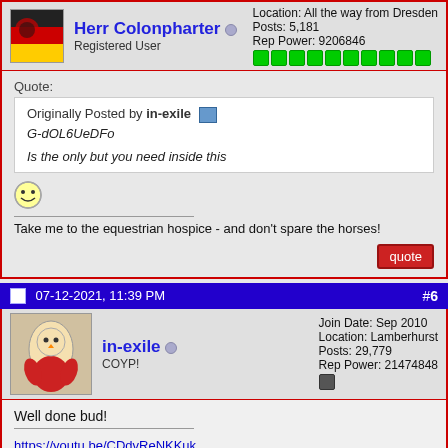Herr Colonpharter — Registered User | Location: All the way from Dresden | Posts: 5,181 | Rep Power: 9206846
Quote: Originally Posted by in-exile
G-dOL6UeDFo

Is the only but you need inside this
Take me to the equestrian hospice - and don't spare the horses!
07-12-2021, 11:39 PM  #6
in-exile — COYP! | Join Date: Sep 2010 | Location: Lamberhurst | Posts: 29,779 | Rep Power: 21474848
Well done bud!
https://youtu.be/CDdvReNKKuk
https://youtu.be/KQIRbV_noi8
https://youtu.be/Z3_HTGdLXL4